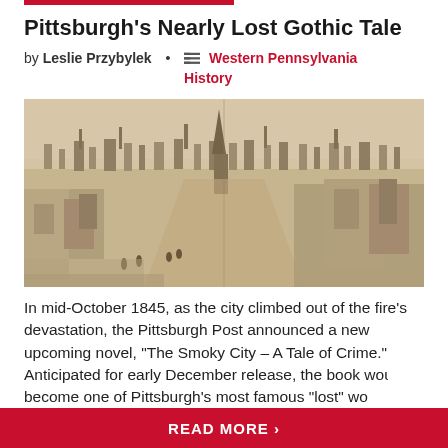Pittsburgh's Nearly Lost Gothic Tale
by Leslie Przybylek • ☰ Western Pennsylvania History
[Figure (illustration): Historical engraving showing a panoramic view of Pittsburgh after the Great Fire of 1845, with burnt ruins of buildings, chimneys, a church steeple in the center, and a few figures walking in the foreground.]
In mid-October 1845, as the city climbed out of the fire's devastation, the Pittsburgh Post announced a new upcoming novel, "The Smoky City – A Tale of Crime." Anticipated for early December release, the book would become one of Pittsburgh's most famous "lost" wo
READ MORE >